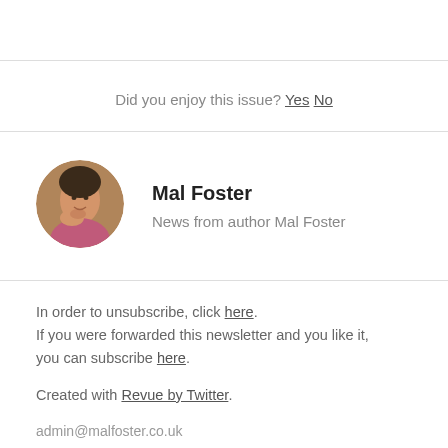Did you enjoy this issue? Yes No
[Figure (photo): Circular profile photo of Mal Foster, a person resting their chin on their hand, wearing a pink top.]
Mal Foster
News from author Mal Foster
In order to unsubscribe, click here.
If you were forwarded this newsletter and you like it, you can subscribe here.
Created with Revue by Twitter.
admin@malfoster.co.uk